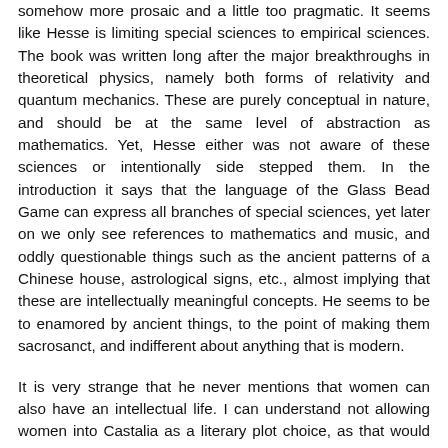somehow more prosaic and a little too pragmatic. It seems like Hesse is limiting special sciences to empirical sciences. The book was written long after the major breakthroughs in theoretical physics, namely both forms of relativity and quantum mechanics. These are purely conceptual in nature, and should be at the same level of abstraction as mathematics. Yet, Hesse either was not aware of these sciences or intentionally side stepped them. In the introduction it says that the language of the Glass Bead Game can express all branches of special sciences, yet later on we only see references to mathematics and music, and oddly questionable things such as the ancient patterns of a Chinese house, astrological signs, etc., almost implying that these are intellectually meaningful concepts. He seems to be to enamored by ancient things, to the point of making them sacrosanct, and indifferent about anything that is modern.
It is very strange that he never mentions that women can also have an intellectual life. I can understand not allowing women into Castalia as a literary plot choice, as that would have introduced things in the story that could distract away from the main theme. However, there is no mention anywhere that women can have intellectual lives, even outside Castalia. Also in the three short stories in the end the women